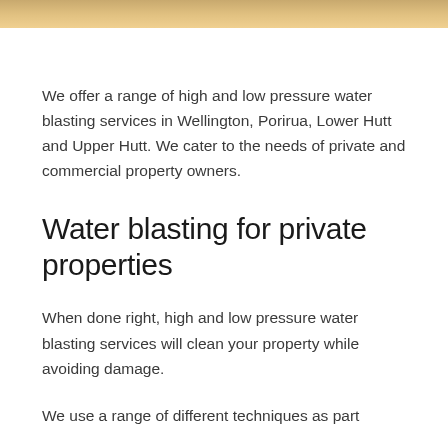[Figure (photo): Decorative top banner image showing a warm golden/sandy textured surface]
We offer a range of high and low pressure water blasting services in Wellington, Porirua, Lower Hutt and Upper Hutt. We cater to the needs of private and commercial property owners.
Water blasting for private properties
When done right, high and low pressure water blasting services will clean your property while avoiding damage.
We use a range of different techniques as part